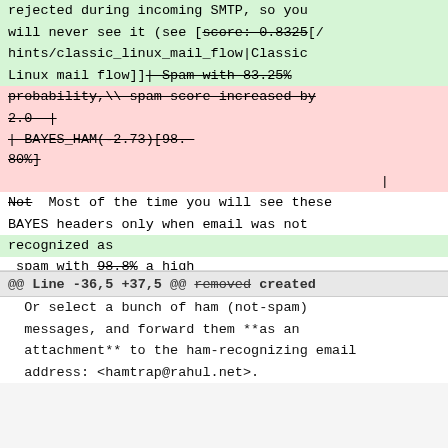rejected during incoming SMTP, so you will never see it (see [score: 0.8325[/hints/classic_linux_mail_flow|Classic Linux mail flow]]| Spam with 83.25% probability,\ spam score increased by 2.0 | | BAYES_HAM(-2.73)[98. 80%] | | Not Most of the time you will see these BAYES headers only when email was not recognized as spam with 98.8% a high enough certainty,\ spam score decreased by 2.73 | ===== How the system learns =====
@@ Line -36,5 +37,5 @@ removed created Or select a bunch of ham (not-spam) messages, and forward them **as an attachment** to the ham-recognizing email address: <hamtrap@rahul.net>.